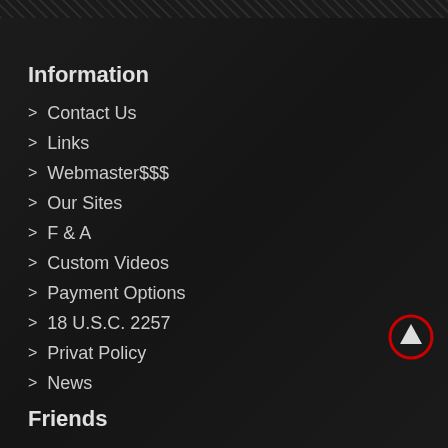Information
Contact Us
Links
Webmaster$$$
Our Sites
F & A
Custom Videos
Payment Options
18 U.S.C. 2257
Privat Policy
News
Friends
Fetish Mega Store
Fetish Tubex
Fetish Girls Cams
Foot Forum